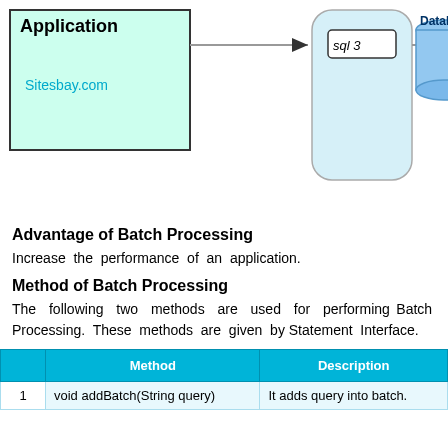[Figure (flowchart): Diagram showing Application box connected via arrow to 'sql 3' rounded rectangle, then arrow to DataBase cylinder shape. Sitesbay.com watermark in the Application box.]
Advantage of Batch Processing
Increase the performance of an application.
Method of Batch Processing
The following two methods are used for performing Batch Processing. These methods are given by Statement Interface.
|  | Method | Description |
| --- | --- | --- |
| 1 | void addBatch(String query) | It adds query into batch. |